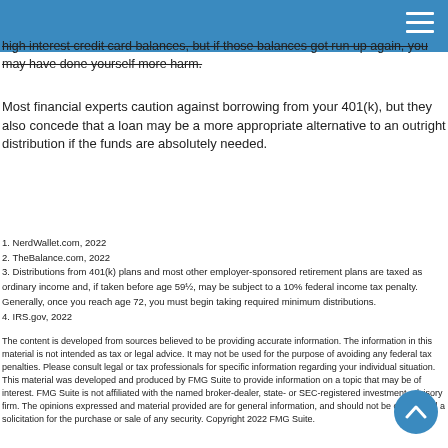high interest credit card balances, but if those balances get run up again, you may have done yourself more harm.
Most financial experts caution against borrowing from your 401(k), but they also concede that a loan may be a more appropriate alternative to an outright distribution if the funds are absolutely needed.
1. NerdWallet.com, 2022
2. TheBalance.com, 2022
3. Distributions from 401(k) plans and most other employer-sponsored retirement plans are taxed as ordinary income and, if taken before age 59½, may be subject to a 10% federal income tax penalty. Generally, once you reach age 72, you must begin taking required minimum distributions.
4. IRS.gov, 2022
The content is developed from sources believed to be providing accurate information. The information in this material is not intended as tax or legal advice. It may not be used for the purpose of avoiding any federal tax penalties. Please consult legal or tax professionals for specific information regarding your individual situation. This material was developed and produced by FMG Suite to provide information on a topic that may be of interest. FMG Suite is not affiliated with the named broker-dealer, state- or SEC-registered investment advisory firm. The opinions expressed and material provided are for general information, and should not be considered a solicitation for the purchase or sale of any security. Copyright 2022 FMG Suite.